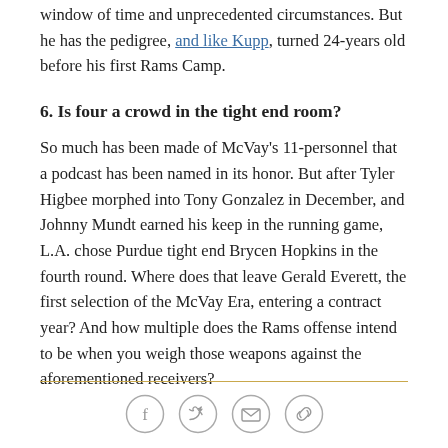window of time and unprecedented circumstances. But he has the pedigree, and like Kupp, turned 24-years old before his first Rams Camp.
6. Is four a crowd in the tight end room?
So much has been made of McVay's 11-personnel that a podcast has been named in its honor. But after Tyler Higbee morphed into Tony Gonzalez in December, and Johnny Mundt earned his keep in the running game, L.A. chose Purdue tight end Brycen Hopkins in the fourth round. Where does that leave Gerald Everett, the first selection of the McVay Era, entering a contract year? And how multiple does the Rams offense intend to be when you weigh those weapons against the aforementioned receivers?
Social share icons: Facebook, Twitter, Email, Link